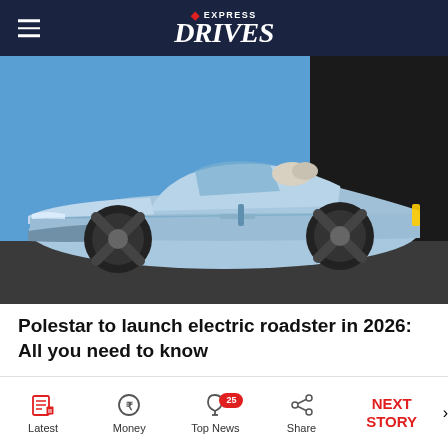EXPRESS DRIVES
[Figure (photo): A light blue Polestar electric roadster concept car displayed on a stage with a blue and black background. The convertible sports car features distinctive X-spoke black wheels and a sleek, futuristic body design.]
Polestar to launch electric roadster in 2026: All you need to know
Latest | Money | Top News 25 | Share | NEXT STORY →